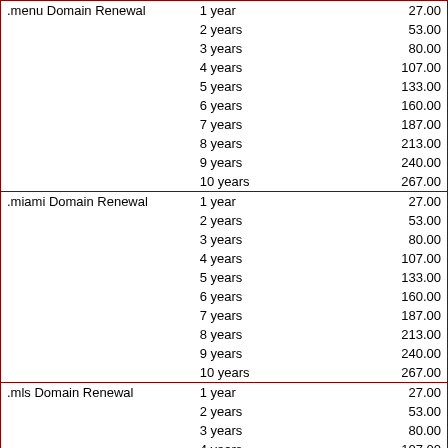|  | Duration | Price |
| --- | --- | --- |
| .menu Domain Renewal | 1 year | 27.00 |
|  | 2 years | 53.00 |
|  | 3 years | 80.00 |
|  | 4 years | 107.00 |
|  | 5 years | 133.00 |
|  | 6 years | 160.00 |
|  | 7 years | 187.00 |
|  | 8 years | 213.00 |
|  | 9 years | 240.00 |
|  | 10 years | 267.00 |
| .miami Domain Renewal | 1 year | 27.00 |
|  | 2 years | 53.00 |
|  | 3 years | 80.00 |
|  | 4 years | 107.00 |
|  | 5 years | 133.00 |
|  | 6 years | 160.00 |
|  | 7 years | 187.00 |
|  | 8 years | 213.00 |
|  | 9 years | 240.00 |
|  | 10 years | 267.00 |
| .mls Domain Renewal | 1 year | 27.00 |
|  | 2 years | 53.00 |
|  | 3 years | 80.00 |
|  | 4 years | 107.00 |
|  | 5 years | 133.00 |
|  | 6 years | 160.00 |
|  | 7 years | 187.00 |
|  | 8 years | 213.00 |
|  | 9 years | 240.00 |
|  | 10 years | 267.00 |